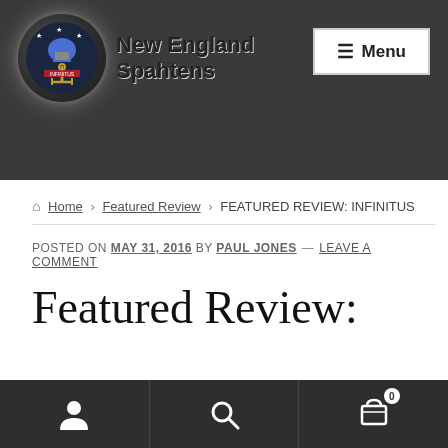[Figure (logo): New England Spahtens logo: circular badge with armored figure, anchor and stars, with glowing white halo effect. Site name 'New England Spahtens' in bold black text to the right.]
Menu
Home › Featured Review › FEATURED REVIEW: INFINITUS
POSTED ON MAY 31, 2016 by Paul Jones — Leave a comment
Featured Review: